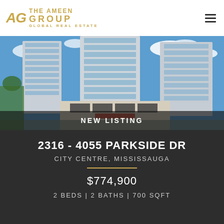[Figure (logo): The Ameen Group Global Real Estate logo in gold with AG initials]
[Figure (photo): Exterior photo of tall modern condominium towers with blue sky and balconies]
NEW LISTING
2316 - 4055 PARKSIDE DR
CITY CENTRE, MISSISSAUGA
$774,900
2 BEDS | 2 BATHS | 700 SQFT